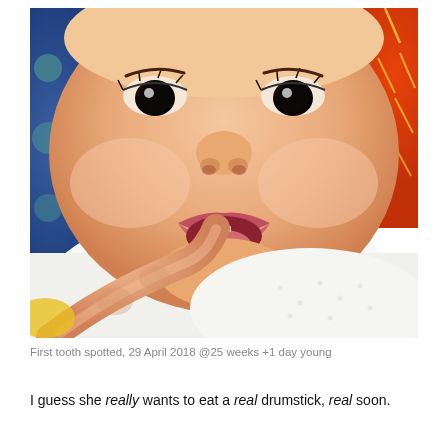[Figure (photo): Close-up photo of a smiling baby with mouth open, showing gums/first tooth emerging. An adult finger is gently touching the baby's lower lip/chin. The baby is wearing a white outfit. Background shows colorful fabric with polka dots (blue) and a patterned fabric (orange/red with yellow marks).]
First tooth spotted, 29 April 2018 @25 weeks +1 day young
I guess she really wants to eat a real drumstick, real soon.